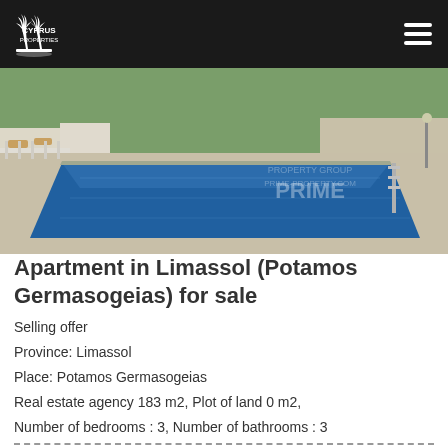CYPRUS PROPERTIES
[Figure (photo): Aerial/side view of a large outdoor swimming pool with blue water, surrounded by stone pavement, lounge chairs and greenery. Watermark: PRIME PROPERTY GROUP PRIME-PROPERTY.COM]
Apartment in Limassol (Potamos Germasogeias) for sale
Selling offer
Province: Limassol
Place: Potamos Germasogeias
Real estate agency 183 m2, Plot of land 0 m2,
Number of bedrooms : 3, Number of bathrooms : 3
Price : 1600000 euro ( GBP 1408000 )
Apartment Limassol